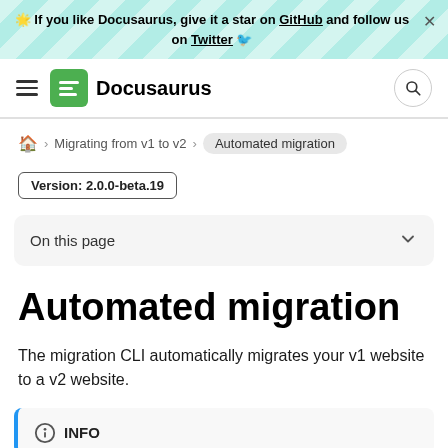🌟 If you like Docusaurus, give it a star on GitHub and follow us on Twitter 🐦
Docusaurus
🏠 > Migrating from v1 to v2 > Automated migration
Version: 2.0.0-beta.19
On this page
Automated migration
The migration CLI automatically migrates your v1 website to a v2 website.
INFO